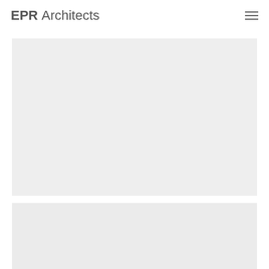EPR Architects
[Figure (photo): Large light grey image placeholder block, first image]
[Figure (photo): Large light grey image placeholder block, second image, partially visible at bottom]